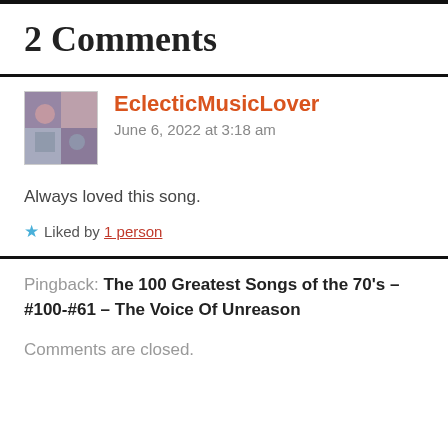2 Comments
EclecticMusicLover
June 6, 2022 at 3:18 am
Always loved this song.
Liked by 1 person
Pingback: The 100 Greatest Songs of the 70's – #100-#61 – The Voice Of Unreason
Comments are closed.